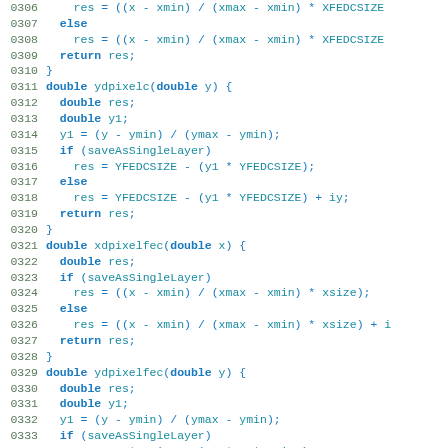Code listing lines 0305-0335, source code showing pixel coordinate conversion functions: ydpixelc, xdpixelfec, ydpixelfec